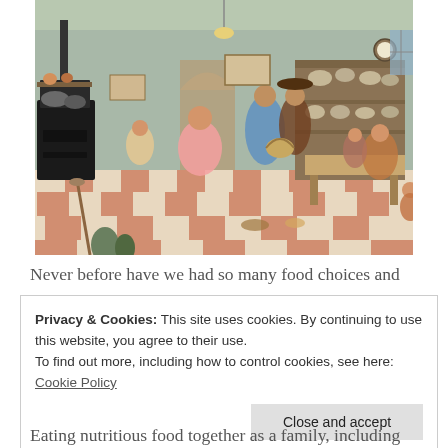[Figure (illustration): A detailed painted illustration of a busy old-fashioned kitchen scene with multiple women and children cooking, a wood stove, a dresser with dishes, checkered floor in terracotta and white, hanging pots, and various kitchen activities.]
Never before have we had so many food choices and
Privacy & Cookies: This site uses cookies. By continuing to use this website, you agree to their use.
To find out more, including how to control cookies, see here: Cookie Policy

Close and accept
Eating nutritious food together as a family, including